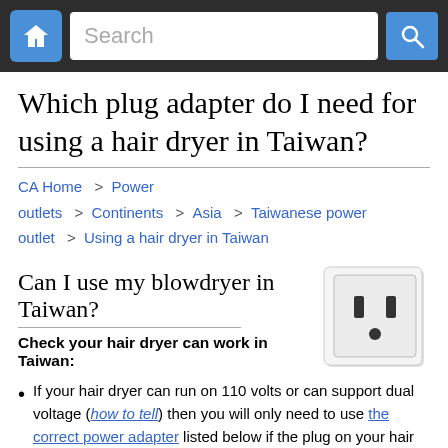Search bar navigation with home button
Which plug adapter do I need for using a hair dryer in Taiwan?
CA Home > Power outlets > Continents > Asia > Taiwanese power outlet > Using a hair dryer in Taiwan
Can I use my blowdryer in Taiwan?
[Figure (photo): A white electrical power outlet (Type A/B) with two vertical slots and a ground hole, mounted on a white wall plate.]
Check your hair dryer can work in Taiwan:
If your hair dryer can run on 110 volts or can support dual voltage (how to tell) then you will only need to use the correct power adapter listed below if the plug on your hair dryer won't fit.
If not then: